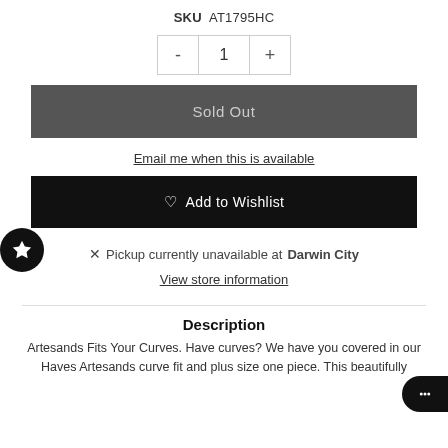SKU AT1795HC
[Figure (other): Quantity selector with minus button, quantity 1, and plus button]
Sold Out
Email me when this is available
♡ Add to Wishlist
[Figure (other): Black circle badge with white star icon on the left edge]
✕ Pickup currently unavailable at Darwin City
View store information
Description
Artesands Fits Your Curves. Have curves? We have you covered in our Haves Artesands curve fit and plus size one piece. This beautifully
[Figure (other): Chat bubble widget at bottom right corner]